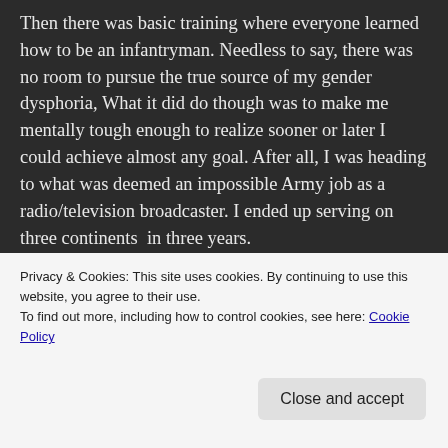Then there was basic training where everyone learned how to be an infantryman. Needless to say, there was no room to pursue the true source of my gender dysphoria, What it did do though was to make me mentally tough enough to realize sooner or later I could achieve almost any goal. After all, I was heading to what was deemed an impossible Army job as a radio/television broadcaster. I ended up serving on three continents  in three years.

During the process, as I have written many times, I met the woman who was to present me with the greatest gift of my life, my daughter Andrea. Even though she was to find out
Privacy & Cookies: This site uses cookies. By continuing to use this website, you agree to their use.
To find out more, including how to control cookies, see here: Cookie Policy
Close and accept
days in the Army before the  'don't ask, don't tell' LGBTQ